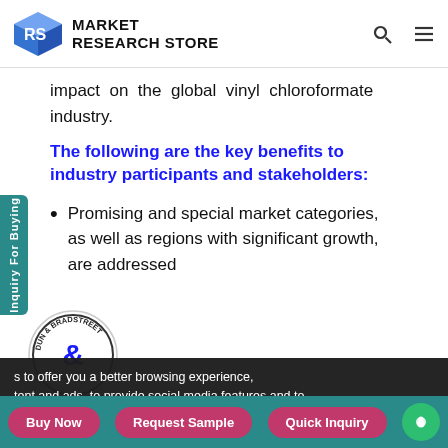MARKET RESEARCH STORE
impact on the global vinyl chloroformate industry.
The following are the key benefits to industry participants and stakeholders:
Promising and special market categories, as well as regions with significant growth, are addressed
s to offer you a better browsing experience, tent and ads, to provide social media features and to analyse our traffic.
Buy Now   Request Sample   Quick Inquiry